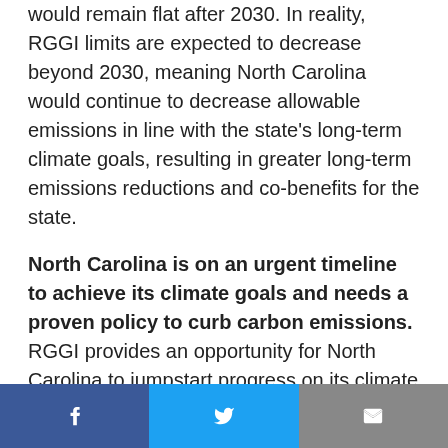would remain flat after 2030. In reality, RGGI limits are expected to decrease beyond 2030, meaning North Carolina would continue to decrease allowable emissions in line with the state's long-term climate goals, resulting in greater long-term emissions reductions and co-benefits for the state.
North Carolina is on an urgent timeline to achieve its climate goals and needs a proven policy to curb carbon emissions. RGGI provides an opportunity for North Carolina to jumpstart progress on its climate goals in the near term, while still allowing for
Social share bar: Facebook, Twitter, Email